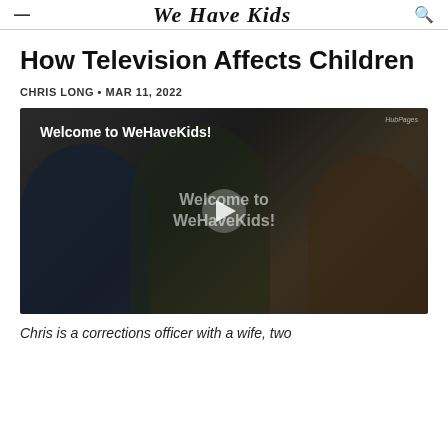We Have Kids
How Television Affects Children
CHRIS LONG • MAR 11, 2022
[Figure (screenshot): Video thumbnail showing a family group with overlay text 'Welcome to WeHaveKids!' and a play button in the center]
Chris is a corrections officer with a wife, two